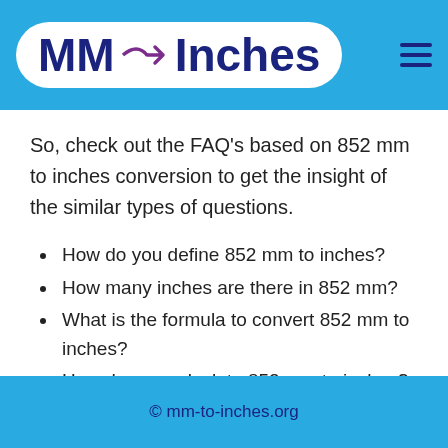MM → Inches
So, check out the FAQ's based on 852 mm to inches conversion to get the insight of the similar types of questions.
How do you define 852 mm to inches?
How many inches are there in 852 mm?
What is the formula to convert 852 mm to inches?
How do you calculate 852 mm to inches?
How do you transform 852 mm to inches?
© mm-to-inches.org